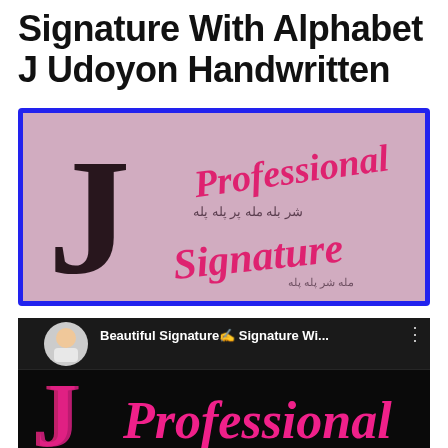Signature With Alphabet J Udoyon Handwritten
[Figure (photo): A handwritten signature image with a large decorative black letter J on the left and pink/magenta stylized cursive text reading 'Professional Signature' on a white/grey background, framed by a blue border.]
[Figure (screenshot): A YouTube video thumbnail preview with a black background showing a circular avatar of a young man, the channel name 'Beautiful Signature✍ Signature Wi...' with a three-dot menu icon, and below it a pink/magenta stylized letter J and cursive 'Professional' text.]